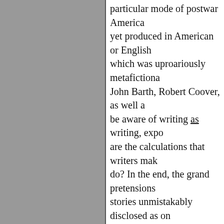particular mode of postwar America yet produced in American or English which was uproariously metafictiona John Barth, Robert Coover, as well a be aware of writing as writing, expo are the calculations that writers mak do? In the end, the grand pretensions stories unmistakably disclosed as on or unwittingly--undermining their ov stripping even literature itself of its what I agree with Gough is its real n does not exist, but to capture the cha and permanence are not, in fact, opp always new, always… novel… is the
I also agree with Gough that the aca probably discouraged writers from f has contributed to the creation of "a done so by valorizing metafiction. T